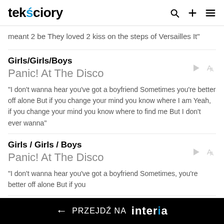tekściory
meant 2 be They loved 2 kiss on the steps of Versailles It"
Girls/Girls/Boys
Panic! At The Disco
"I don't wanna hear you've got a boyfriend Sometimes you're better off alone But if you change your mind you know where I am Yeah, if you change your mind you know where to find me But I don't ever wanna"
Girls / Girls / Boys
Panic! At The Disco
"I don't wanna hear you've got a boyfriend Sometimes, you're better off alone But if you
← PRZEJDŹ NA interia